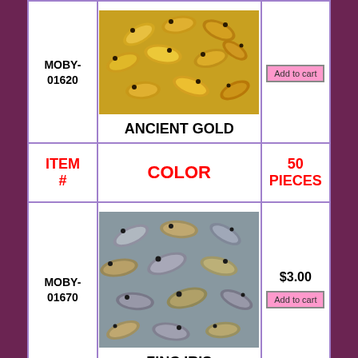| ITEM # | COLOR | 50 PIECES |
| --- | --- | --- |
| MOBY-01620 | ANCIENT GOLD (image) | Add to cart |
| ITEM # | COLOR | 50 PIECES |
| MOBY-01670 | ZINC IRIS (image) | $3.00 / Add to cart |
| ITEM | COLOR | 50 |